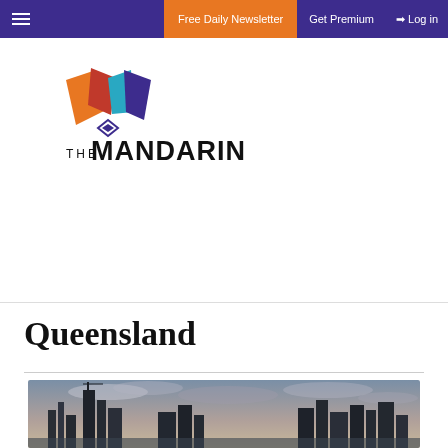Free Daily Newsletter  Get Premium  Log in
[Figure (logo): The Mandarin logo with geometric orange, red, blue and purple diamond shapes above the text THE MANDARIN]
Queensland
[Figure (photo): City skyline photograph showing tall buildings against a cloudy dramatic sky, appears to be Brisbane city]